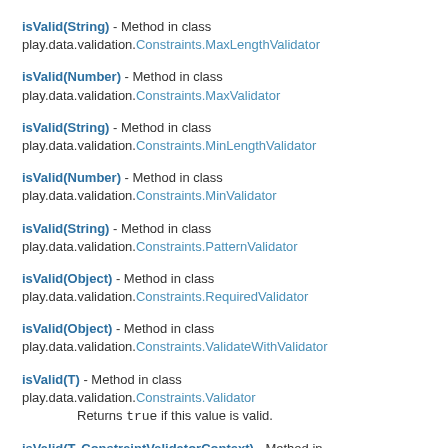isValid(String) - Method in class play.data.validation.Constraints.MaxLengthValidator
isValid(Number) - Method in class play.data.validation.Constraints.MaxValidator
isValid(String) - Method in class play.data.validation.Constraints.MinLengthValidator
isValid(Number) - Method in class play.data.validation.Constraints.MinValidator
isValid(String) - Method in class play.data.validation.Constraints.PatternValidator
isValid(Object) - Method in class play.data.validation.Constraints.RequiredValidator
isValid(Object) - Method in class play.data.validation.Constraints.ValidateWithValidator
isValid(T) - Method in class play.data.validation.Constraints.Validator
Returns true if this value is valid.
isValid(T, ConstraintValidatorContext) - Method in class play.data.validation.Constraints.Validator
Returns true if this value is valid for the given...